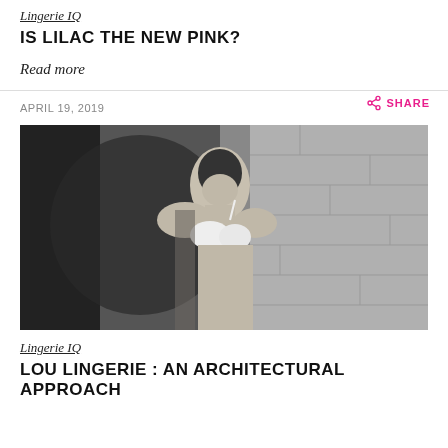Lingerie IQ
IS LILAC THE NEW PINK?
Read more
APRIL 19, 2019
SHARE
[Figure (photo): Black and white photo of a female model wearing a white lace bra, posed against a stone wall background]
Lingerie IQ
LOU LINGERIE : AN ARCHITECTURAL APPROACH